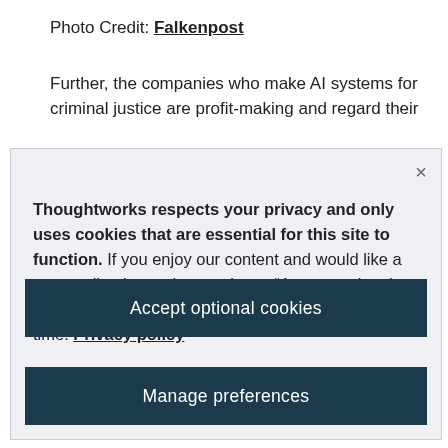Photo Credit: Falkenpost
Further, the companies who make AI systems for criminal justice are profit-making and regard their
Thoughtworks respects your privacy and only uses cookies that are essential for this site to function. If you enjoy our content and would like a personalized experience, please “Accept optional cookies”. You can manage or revoke consent at any time. Privacy policy
Accept optional cookies
Manage preferences